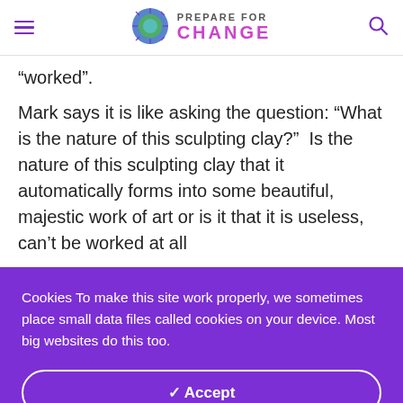Prepare For Change
“worked”.
Mark says it is like asking the question: “What is the nature of this sculpting clay?”  Is the nature of this sculpting clay that it automatically forms into some beautiful, majestic work of art or is it that it is useless, can’t be worked at all
Cookies To make this site work properly, we sometimes place small data files called cookies on your device. Most big websites do this too.
✓ Accept
Change Settings ⚙